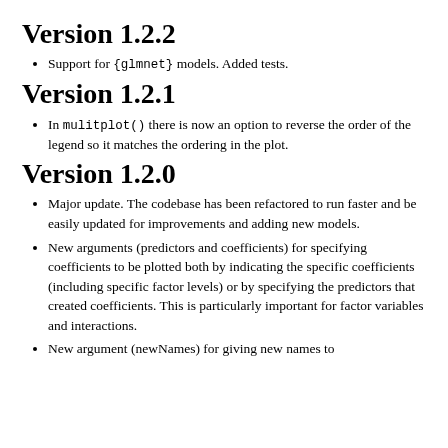Version 1.2.2
Support for {glmnet} models. Added tests.
Version 1.2.1
In mulitplot() there is now an option to reverse the order of the legend so it matches the ordering in the plot.
Version 1.2.0
Major update. The codebase has been refactored to run faster and be easily updated for improvements and adding new models.
New arguments (predictors and coefficients) for specifying coefficients to be plotted both by indicating the specific coefficients (including specific factor levels) or by specifying the predictors that created coefficients. This is particularly important for factor variables and interactions.
New argument (newNames) for giving new names to